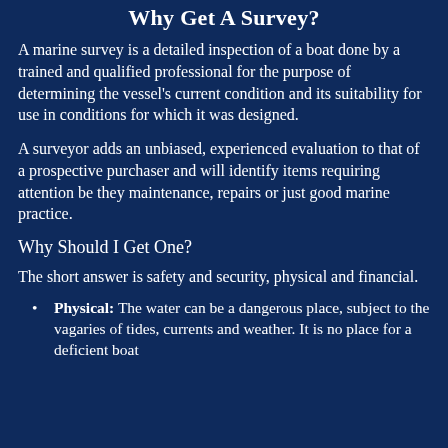Why Get A Survey?
A marine survey is a detailed inspection of a boat done by a trained and qualified professional for the purpose of determining the vessel's current condition and its suitability for use in conditions for which it was designed.
A surveyor adds an unbiased, experienced evaluation to that of a prospective purchaser and will identify items requiring attention be they maintenance, repairs or just good marine practice.
Why Should I Get One?
The short answer is safety and security, physical and financial.
Physical: The water can be a dangerous place, subject to the vagaries of tides, currents and weather. It is no place for a deficient boat